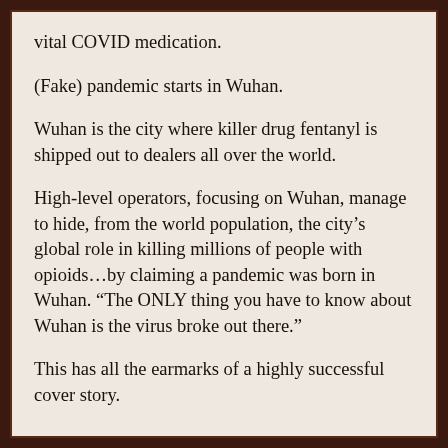vital COVID medication.
(Fake) pandemic starts in Wuhan.
Wuhan is the city where killer drug fentanyl is shipped out to dealers all over the world.
High-level operators, focusing on Wuhan, manage to hide, from the world population, the city’s global role in killing millions of people with opioids…by claiming a pandemic was born in Wuhan. “The ONLY thing you have to know about Wuhan is the virus broke out there.”
This has all the earmarks of a highly successful cover story.